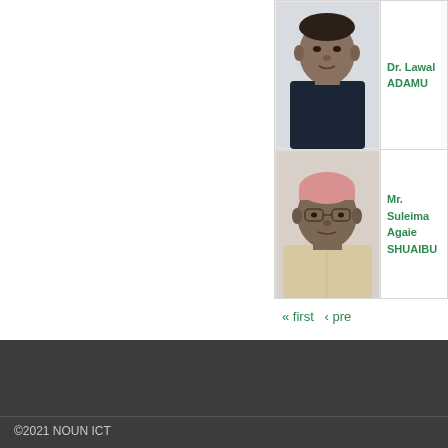[Figure (photo): Profile photo of Dr. Lawal ADAMU, a young man in dark clothing]
Dr. Lawal ADAMU
[Figure (photo): Profile photo of Mr. Suleiman Agaie SHUAIBU, an older man wearing a pink cap and light clothing]
Mr. Suleiman Agaie SHUAIBU
« first  ‹ pre
©2021 NOUN ICT